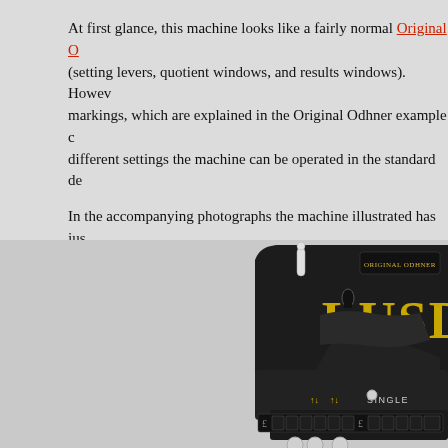At first glance, this machine looks like a fairly normal Original O(dhner) (setting levers, quotient windows, and results windows). However, markings, which are explained in the Original Odhner example c(alculations) different settings the machine can be operated in the standard de(cimal mode).
In the accompanying photographs the machine illustrated has jus(t been set up from the) example calculations brochure[2]. This is a calculation to find th(e answer) giving the answer £405/2s/2d (or in decimals £405.108).
[Figure (photo): Photograph of an Original Odhner Lusid mechanical calculator, black with gold lettering showing 'LUSID' on the side, with setting levers, result windows, and a row of digit keys visible. The word 'SINGLE' appears on the lower section.]